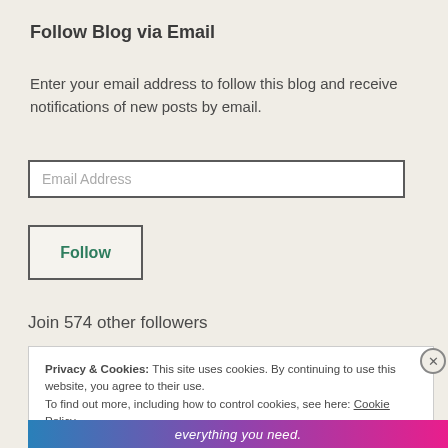Follow Blog via Email
Enter your email address to follow this blog and receive notifications of new posts by email.
Email Address
Follow
Join 574 other followers
Privacy & Cookies: This site uses cookies. By continuing to use this website, you agree to their use.
To find out more, including how to control cookies, see here: Cookie Policy
Close and accept
everything you need.